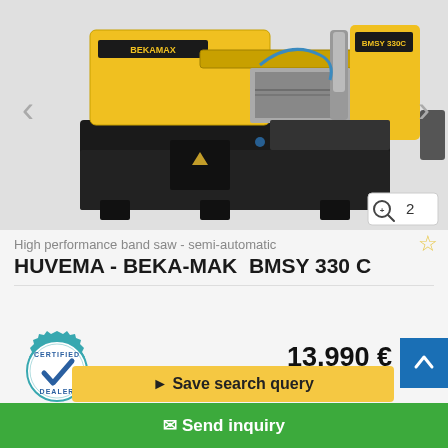[Figure (photo): Yellow and black HUVEMA - BEKA-MAK BMSY 330C high performance band saw machine on a product listing page. Left and right navigation arrows visible on the sides. Zoom icon with number 2 in bottom right corner.]
High performance band saw - semi-automatic
HUVEMA - BEKA-MAK  BMSY 330 C
[Figure (logo): Certified Dealer badge - teal/blue gear-shaped badge with checkmark and text CERTIFIED DEALER]
13,990 €
ONO plus VAT
Save search query
Send inquiry